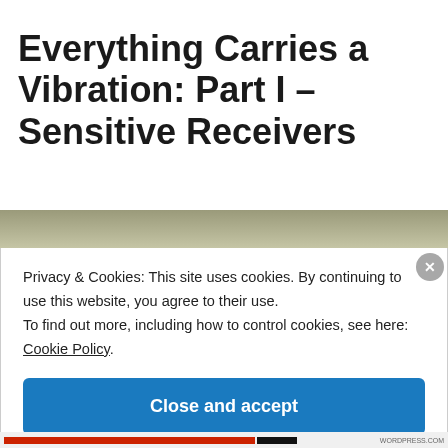Everything Carries a Vibration: Part I – Sensitive Receivers
Privacy & Cookies: This site uses cookies. By continuing to use this website, you agree to their use.
To find out more, including how to control cookies, see here: Cookie Policy
Close and accept